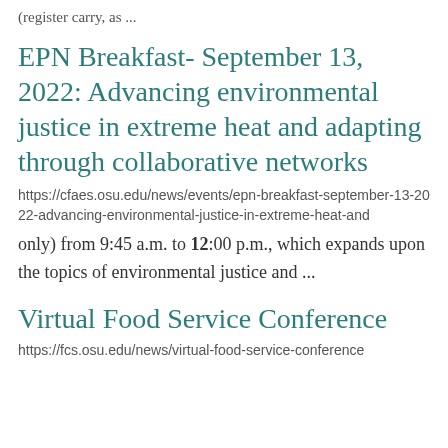(register carry, as ...
EPN Breakfast- September 13, 2022: Advancing environmental justice in extreme heat and adapting through collaborative networks
https://cfaes.osu.edu/news/events/epn-breakfast-september-13-2022-advancing-environmental-justice-in-extreme-heat-and
only) from 9:45 a.m. to 12:00 p.m., which expands upon the topics of environmental justice and ...
Virtual Food Service Conference
https://fcs.osu.edu/news/virtual-food-service-conference